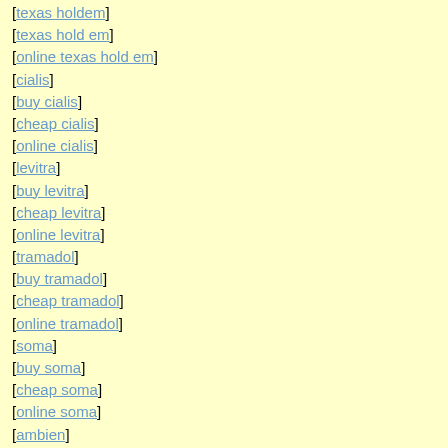[texas holdem]
[texas hold em]
[online texas hold em]
[cialis]
[buy cialis]
[cheap cialis]
[online cialis]
[levitra]
[buy levitra]
[cheap levitra]
[online levitra]
[tramadol]
[buy tramadol]
[cheap tramadol]
[online tramadol]
[soma]
[buy soma]
[cheap soma]
[online soma]
[ambien]
[buy ambien]
[cheap ambien]
[online ambien]
[ultram]
[buy ultram]
[cheap ultram]
[online ultram]
[fioricet]
[buy fioricet]